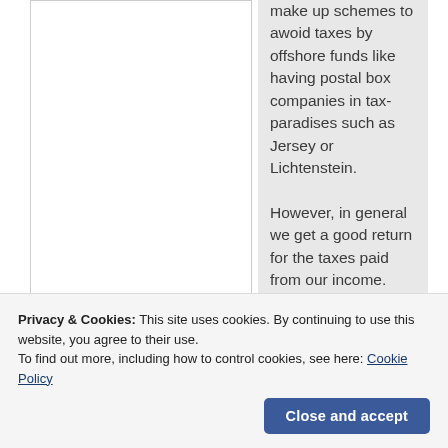make up schemes to awoid taxes by offshore funds like having postal box companies in tax-paradises such as Jersey or Lichtenstein.
However, in general we get a good return for the taxes paid from our income. Reliable police, reliable officials, reliable firedepartment, reliable and mostly
participate in at
Privacy & Cookies: This site uses cookies. By continuing to use this website, you agree to their use.
To find out more, including how to control cookies, see here: Cookie Policy
Close and accept